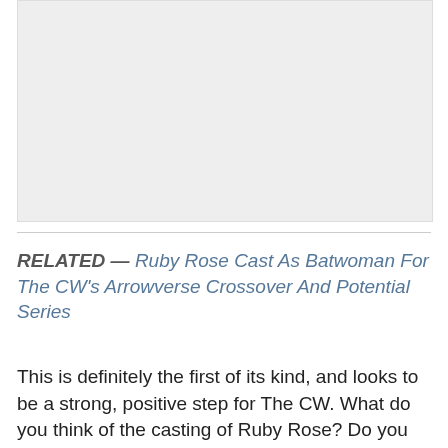[Figure (other): Gray placeholder image area]
RELATED — Ruby Rose Cast As Batwoman For The CW's Arrowverse Crossover And Potential Series
This is definitely the first of its kind, and looks to be a strong, positive step for The CW. What do you think of the casting of Ruby Rose? Do you think Batwoman will make it